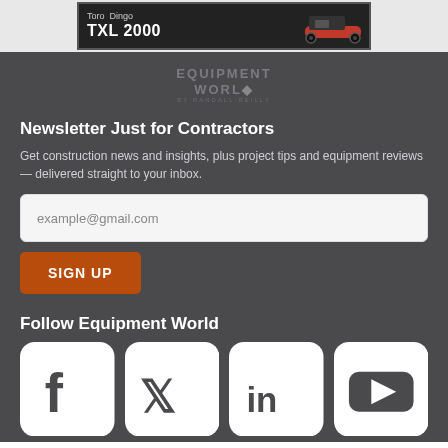[Figure (photo): Advertisement banner showing Toro Dingo TXL 2000 tracked utility vehicle on dark background]
[Figure (logo): Equipment World by Randall-Reilly logo in muted gray text]
Newsletter Just for Contractors
Get construction news and insights, plus project tips and equipment reviews — delivered straight to your inbox.
example@gmail.com
SIGN UP
Follow Equipment World
[Figure (illustration): Social media icons for Facebook, Twitter, LinkedIn, and YouTube]